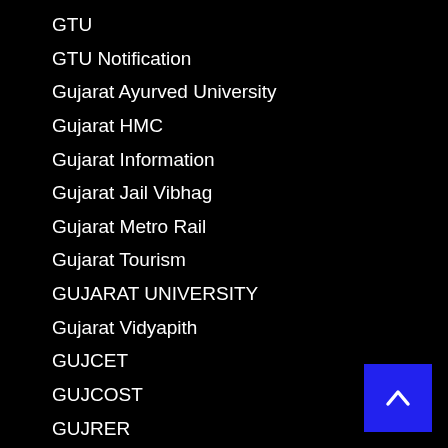GTU
GTU Notification
Gujarat Ayurved University
Gujarat HMC
Gujarat Information
Gujarat Jail Vibhag
Gujarat Metro Rail
Gujarat Tourism
GUJARAT UNIVERSITY
Gujarat Vidyapith
GUJCET
GUJCOST
GUJRER
GVK EMRI
GWSSB
HL